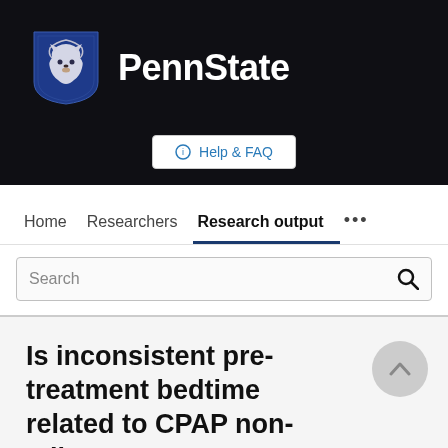[Figure (logo): Penn State University logo with lion shield and PennState wordmark on dark background]
Help & FAQ
Home   Researchers   Research output   ...
Search
Is inconsistent pre-treatment bedtime related to CPAP non-adherence?